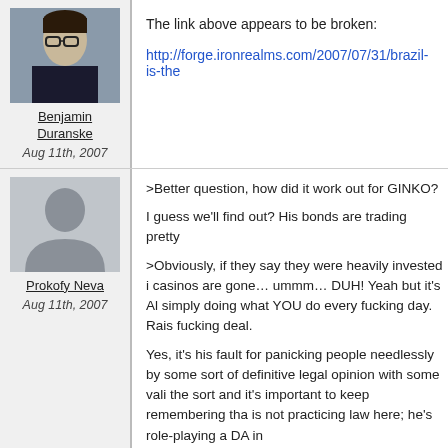[Figure (photo): Profile photo of Benjamin Duranske, a person in glasses and dark suit]
Benjamin Duranske
Aug 11th, 2007
The link above appears to be broken:

http://forge.ironrealms.com/2007/07/31/brazil-is-the-
[Figure (photo): Generic grey placeholder avatar with person silhouette]
Prokofy Neva
Aug 11th, 2007
>Better question, how did it work out for GINKO?

I guess we'll find out? His bonds are trading pretty

>Obviously, if they say they were heavily invested i casinos are gone… ummm… DUH! Yeah but it's Al simply doing what YOU do every fucking day. Rais fucking deal.

Yes, it's his fault for panicking people needlessly by some sort of definitive legal opinion with some vali the sort and it's important to keep remembering tha is not practicing law here; he's role-playing a DA in